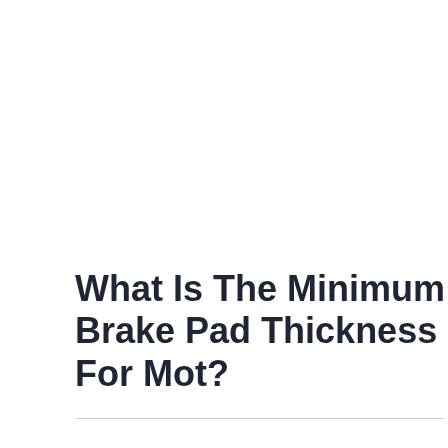What Is The Minimum Brake Pad Thickness For Mot?